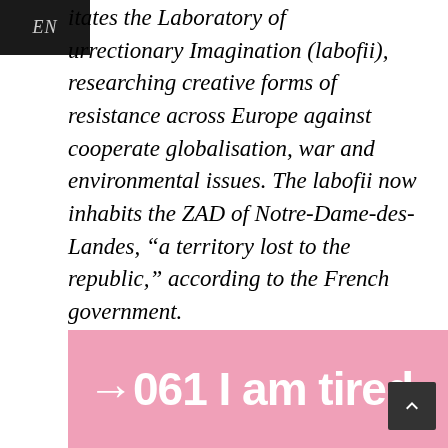EN
itates the Laboratory of urrectionary Imagination (labofii), researching creative forms of resistance across Europe against cooperate globalisation, war and environmental issues. The labofii now inhabits the ZAD of Notre-Dame-des-Landes, “a territory lost to the republic,” according to the French government.
→061 I am tired